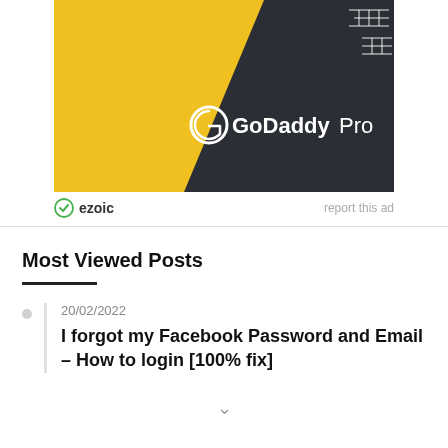[Figure (advertisement): GoDaddy Pro advertisement banner with yellow and dark background, showing GoDaddy Pro logo and text]
report this ad
ezoic
Most Viewed Posts
20/02/2022
I forgot my Facebook Password and Email – How to login [100% fix]